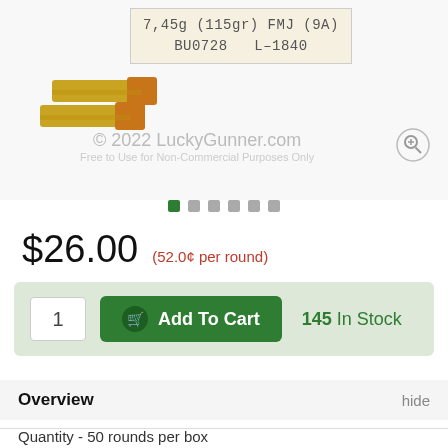[Figure (photo): Product photo of 9mm ammunition with label showing 7,45g (115gr) FMJ (9A) BU0728 L-1840, two brass bullets visible, watermark © 2022 LuckyGunner.com Free to Use for Non-Commercial Purposes Only, zoom icon top right]
$26.00  (52.0¢ per round)
1    Add To Cart    145 In Stock
Overview
hide
Quantity - 50 rounds per box